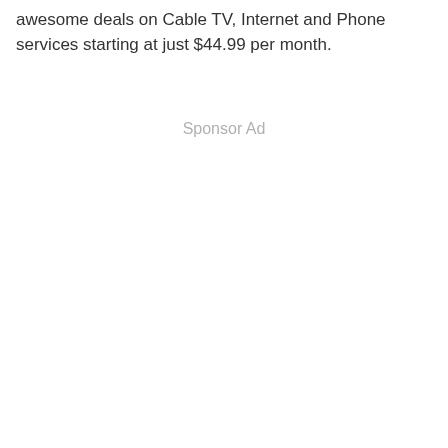awesome deals on Cable TV, Internet and Phone services starting at just $44.99 per month.
Sponsor Ad